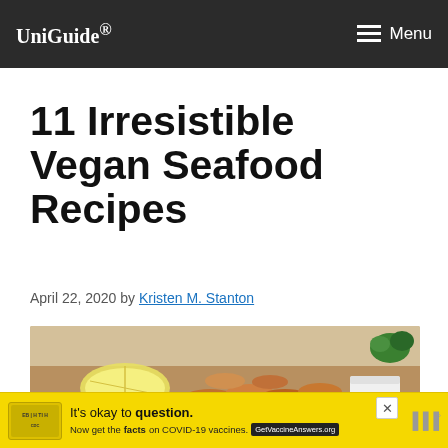UniGuide® Menu
11 Irresistible Vegan Seafood Recipes
April 22, 2020 by Kristen M. Stanton
[Figure (photo): Photo of vegan seafood dish — fried pieces with lemon wedges, a white dipping sauce, and green herbs on a wooden surface]
[Figure (infographic): Advertisement banner: yellow background with CDC vaccine logo, text 'It's okay to question. Now get the facts on COVID-19 vaccines. GetVaccineAnswers.org']